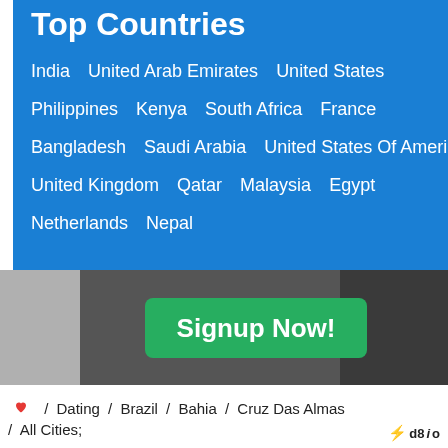Top Countries
India   United Arab Emirates   United States
Philippines   Kenya   South Africa   France
Bangladesh   Saudi Arabia   United States Of America
United Kingdom   Qatar   Malaysia   Egypt
Netherlands   Nepal
[Figure (photo): Collage of profile photos of women used as dating site background]
Signup Now!
❤ / Dating / Brazil / Bahia / Cruz Das Almas / All Cities;
⚡ d8io